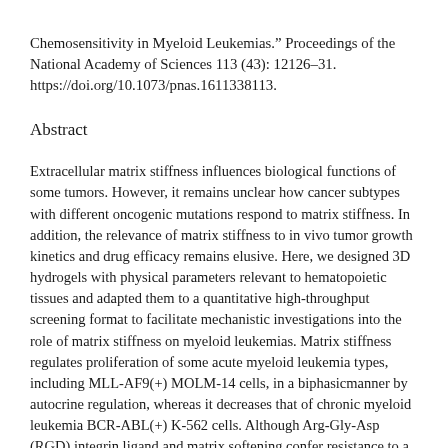Chemosensitivity in Myeloid Leukemias." Proceedings of the National Academy of Sciences 113 (43): 12126–31. https://doi.org/10.1073/pnas.1611338113.
Abstract
Extracellular matrix stiffness influences biological functions of some tumors. However, it remains unclear how cancer subtypes with different oncogenic mutations respond to matrix stiffness. In addition, the relevance of matrix stiffness to in vivo tumor growth kinetics and drug efficacy remains elusive. Here, we designed 3D hydrogels with physical parameters relevant to hematopoietic tissues and adapted them to a quantitative high-throughput screening format to facilitate mechanistic investigations into the role of matrix stiffness on myeloid leukemias. Matrix stiffness regulates proliferation of some acute myeloid leukemia types, including MLL-AF9(+) MOLM-14 cells, in a biphasicmanner by autocrine regulation, whereas it decreases that of chronic myeloid leukemia BCR-ABL(+) K-562 cells. Although Arg-Gly-Asp (RGD) integrin ligand and matrix softening confer resistance to a number of drugs, cells become sensitive to drugs against protein kinase B (PKB or AKT) and rapidly accelerated fibrosarcoma (RAF) proteins regardless of matrix stiffness when MLL-AF9 and BCR-ABL are overexpressed in K-562 and MOLM-14 cells, respectively. By adapting the same hydrogels to a xenograft model of extramedullary leukemias, we confirm the pathological relevance of matrix stiffness in